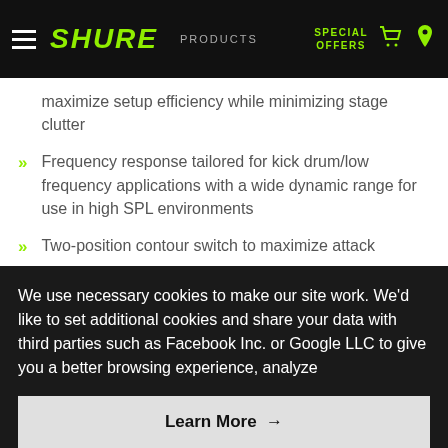SHURE | PRODUCTS | SPECIAL OFFERS
maximize setup efficiency while minimizing stage clutter
Frequency response tailored for kick drum/low frequency applications with a wide dynamic range for use in high SPL environments
Two-position contour switch to maximize attack
We use necessary cookies to make our site work. We'd like to set additional cookies and share your data with third parties such as Facebook Inc. or Google LLC to give you a better browsing experience, analyze
Learn More →
Agree and close